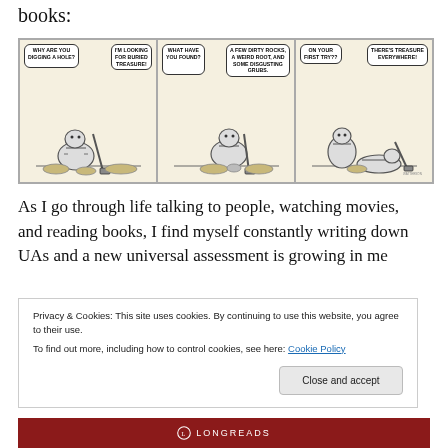books:
[Figure (illustration): A Calvin and Hobbes comic strip with three panels. Panel 1: Calvin digging a hole, Hobbes asks 'WHY ARE YOU DIGGING A HOLE?' Calvin replies 'I'M LOOKING FOR BURIED TREASURE!' Panel 2: Hobbes asks 'WHAT HAVE YOU FOUND?' Calvin replies 'A FEW DIRTY ROCKS, A WEIRD ROOT, AND SOME DISGUSTING GRUBS.' Panel 3: Hobbes says 'ON YOUR FIRST TRY??' Calvin replies 'THERE'S TREASURE EVERYWHERE!']
As I go through life talking to people, watching movies, and reading books, I find myself constantly writing down UAs and a new universal assessment is growing in me
Privacy & Cookies: This site uses cookies. By continuing to use this website, you agree to their use.
To find out more, including how to control cookies, see here: Cookie Policy
Close and accept
[Figure (logo): Longreads logo bar in dark red with circular icon and LONGREADS text]